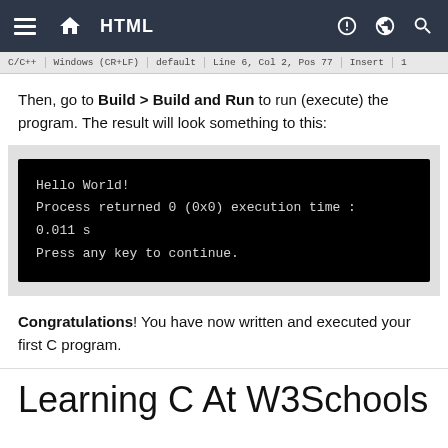HTML
[Figure (screenshot): Editor status bar showing C/C++, Windows (CR+LF), default, Line 6, Col 2, Pos 77, Insert]
Then, go to Build > Build and Run to run (execute) the program. The result will look something to this:
[Figure (screenshot): Terminal output showing: Hello World! Process returned 0 (0x0) execution time : 0.011 s Press any key to continue.]
Congratulations! You have now written and executed your first C program.
Learning C At W3Schools